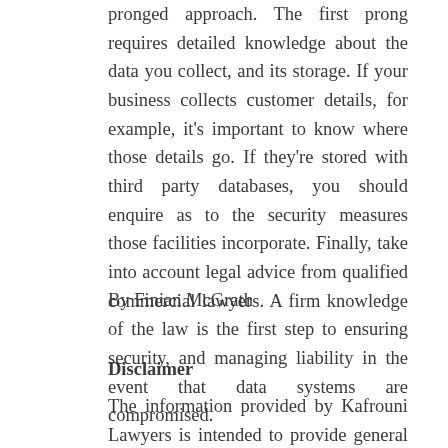pronged approach. The first prong requires detailed knowledge about the data you collect, and its storage. If your business collects customer details, for example, it’s important to know where those details go. If they’re stored with third party databases, you should enquire as to the security measures those facilities incorporate. Finally, take into account legal advice from qualified commercial lawyers. A firm knowledge of the law is the first step to ensuring security, and managing liability in the event that data systems are compromised.
By Finian McGrath
Disclaimer
The information provided by Kafrouni Lawyers is intended to provide general information and is